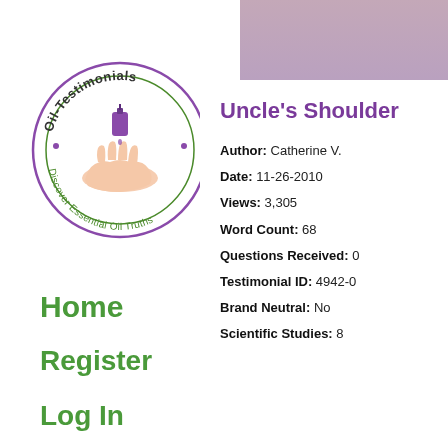[Figure (logo): Oil-Testimonials circular logo with a hand holding an essential oil bottle dripping oil, text reads 'Oil-Testimonials · Discover Essential Oil Truths']
Uncle's Shoulder
Author: Catherine V.
Date: 11-26-2010
Views: 3,305
Word Count: 68
Questions Received: 0
Testimonial ID: 4942-0
Brand Neutral: No
Scientific Studies: 8
Home
Register
Log In